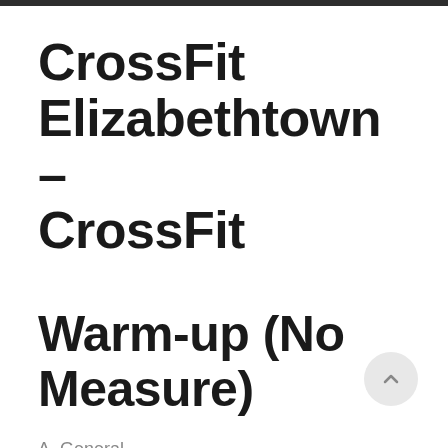CrossFit Elizabethtown – CrossFit
Warm-up (No Measure)
A. General
60sec Row